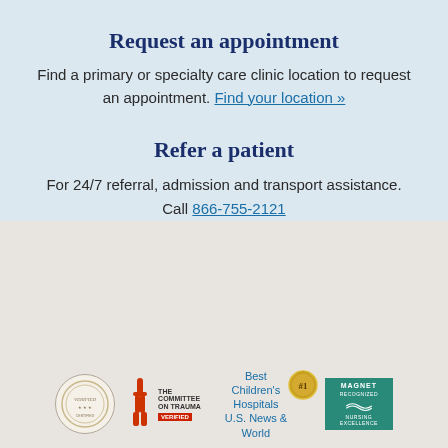Request an appointment
Find a primary or specialty care clinic location to request an appointment. Find your location »
Refer a patient
For 24/7 referral, admission and transport assistance. Call 866-755-2121
[Figure (logo): Row of accreditation logos: a circular seal, Committee on Trauma badge, Best Children's Hospitals U.S. News & World gold medal badge, and Magnet Recognized badge]